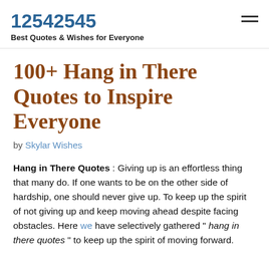12542545 — Best Quotes & Wishes for Everyone
100+ Hang in There Quotes to Inspire Everyone
by Skylar Wishes
Hang in There Quotes : Giving up is an effortless thing that many do. If one wants to be on the other side of hardship, one should never give up. To keep up the spirit of not giving up and keep moving ahead despite facing obstacles. Here we have selectively gathered " hang in there quotes " to keep up the spirit of moving forward.